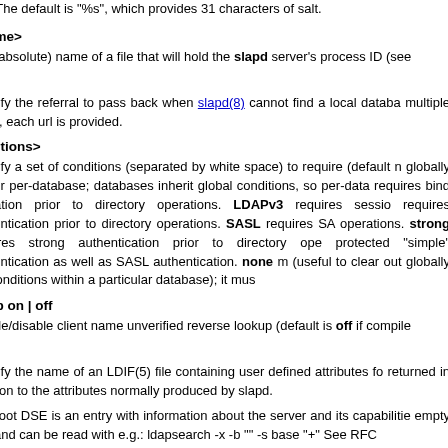salt. The default is "%s", which provides 31 characters of salt.
e <filename>
The (absolute) name of a file that will hold the slapd server's process ID (see
al <url>
Specify the referral to pass back when slapd(8) cannot find a local database. multiple times, each url is provided.
re <conditions>
Specify a set of conditions (separated by white space) to require (default n globally and/or per-database; databases inherit global conditions, so per-data requires bind operation prior to directory operations. LDAPv3 requires sessio requires authentication prior to directory operations. SASL requires SA operations. strong requires strong authentication prior to directory ope protected "simple" authentication as well as SASL authentication. none m (useful to clear out globally set conditions within a particular database); it mus
se-lookup on | off
Enable/disable client name unverified reverse lookup (default is off if compile
SE <file>
Specify the name of an LDIF(5) file containing user defined attributes fo returned in addition to the attributes normally produced by slapd.
The root DSE is an entry with information about the server and its capabilitie empty DN, and can be read with e.g.: ldapsearch -x -b "" -s base "+" See RFC
auxprops <plugin> [...]
Specify which auxprop plugins to use for authentication lookups. The defa